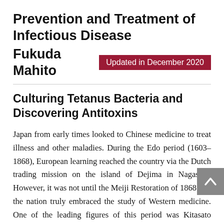Prevention and Treatment of Infectious Disease
Fukuda Mahito
Updated in December 2020
Culturing Tetanus Bacteria and Discovering Antitoxins
Japan from early times looked to Chinese medicine to treat illness and other maladies. During the Edo period (1603–1868), European learning reached the country via the Dutch trading mission on the island of Dejima in Nagasaki. However, it was not until the Meiji Restoration of 1868 that the nation truly embraced the study of Western medicine. One of the leading figures of this period was Kitasato Shibasaburō (1853–1931), whose discoveries still influence the medical field today.